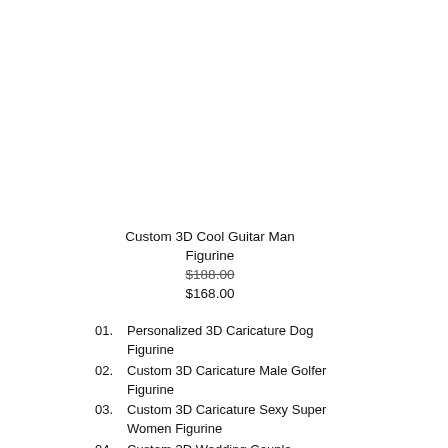Custom 3D Cool Guitar Man Figurine
$188.00
$168.00
01. Personalized 3D Caricature Dog Figurine
02. Custom 3D Caricature Male Golfer Figurine
03. Custom 3D Caricature Sexy Super Women Figurine
04. Custom 3D Wedding Couple Figurines